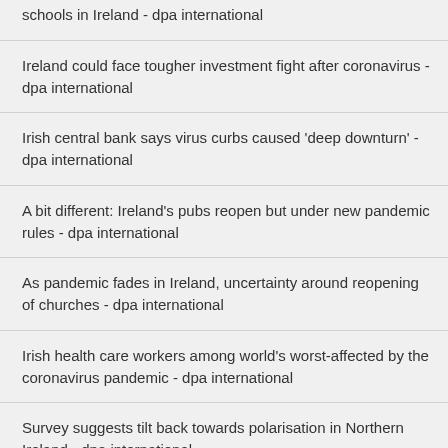schools in Ireland - dpa international
Ireland could face tougher investment fight after coronavirus - dpa international
Irish central bank says virus curbs caused 'deep downturn' - dpa international
A bit different: Ireland's pubs reopen but under new pandemic rules - dpa international
As pandemic fades in Ireland, uncertainty around reopening of churches - dpa international
Irish health care workers among world's worst-affected by the coronavirus pandemic - dpa international
Survey suggests tilt back towards polarisation in Northern Ireland - dpa international